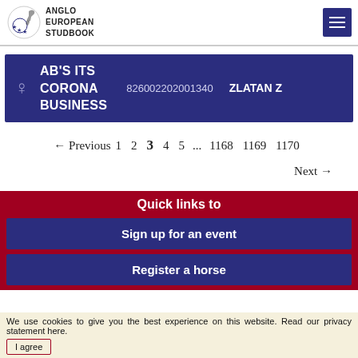ANGLO EUROPEAN STUDBOOK
AB'S ITS CORONA BUSINESS  826002202001340  ZLATAN Z
← Previous  1  2  3  4  5  ...  1168  1169  1170  Next →
Quick links to
Sign up for an event
Register a horse
We use cookies to give you the best experience on this website. Read our privacy statement here.
I agree